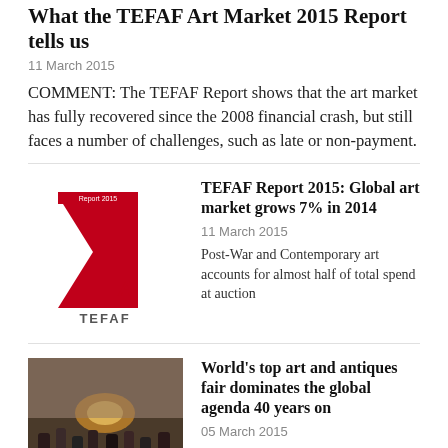What the TEFAF Art Market 2015 Report tells us
11 March 2015
COMMENT: The TEFAF Report shows that the art market has fully recovered since the 2008 financial crash, but still faces a number of challenges, such as late or non-payment.
[Figure (logo): TEFAF report 2015 cover with red triangular logo and TEFAF text]
TEFAF Report 2015: Global art market grows 7% in 2014
11 March 2015
Post-War and Contemporary art accounts for almost half of total spend at auction
[Figure (photo): Crowd of people at an art fair event]
World's top art and antiques fair dominates the global agenda 40 years on
05 March 2015
Every year on the eve between